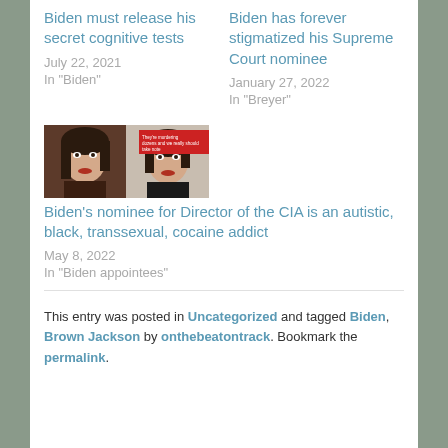Biden must release his secret cognitive tests
July 22, 2021
In "Biden"
Biden has forever stigmatized his Supreme Court nominee
January 27, 2022
In "Breyer"
[Figure (photo): Two side-by-side video stills of a woman with dark hair, with a red banner overlay reading text about murdering]
Biden's nominee for Director of the CIA is an autistic, black, transsexual, cocaine addict
May 8, 2022
In "Biden appointees"
This entry was posted in Uncategorized and tagged Biden, Brown Jackson by onthebeatontrack. Bookmark the permalink.